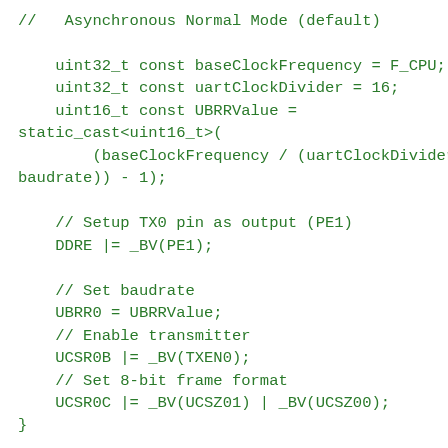//   Asynchronous Normal Mode (default)

    uint32_t const baseClockFrequency = F_CPU;
    uint32_t const uartClockDivider = 16;
    uint16_t const UBRRValue =
static_cast<uint16_t>(
        (baseClockFrequency / (uartClockDivider *
baudrate)) - 1);

    // Setup TX0 pin as output (PE1)
    DDRE |= _BV(PE1);

    // Set baudrate
    UBRR0 = UBRRValue;
    // Enable transmitter
    UCSR0B |= _BV(TXEN0);
    // Set 8-bit frame format
    UCSR0C |= _BV(UCSZ01) | _BV(UCSZ00);
}

void UARTSendByte(uint8_t value) {
    // Wait until the previous transmission has